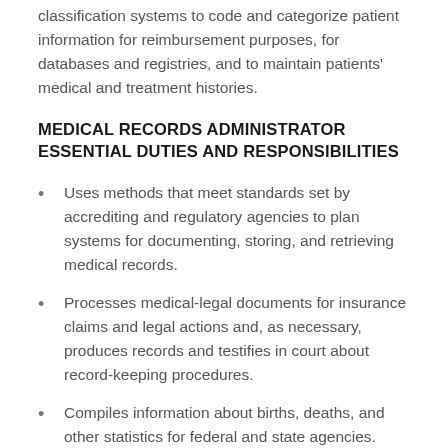classification systems to code and categorize patient information for reimbursement purposes, for databases and registries, and to maintain patients' medical and treatment histories.
MEDICAL RECORDS ADMINISTRATOR ESSENTIAL DUTIES AND RESPONSIBILITIES
Uses methods that meet standards set by accrediting and regulatory agencies to plan systems for documenting, storing, and retrieving medical records.
Processes medical-legal documents for insurance claims and legal actions and, as necessary, produces records and testifies in court about record-keeping procedures.
Compiles information about births, deaths, and other statistics for federal and state agencies.
Supervises health information (medical records) coders/technicians, assistants, medical secretaries, and other medical record staff;